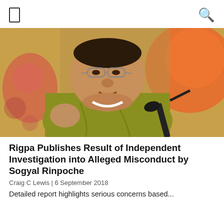[Figure (photo): A Tibetan Buddhist lama wearing a yellow/olive robe, gesturing with one hand while speaking at a microphone. The background shows colorful Tibetan thangka art with orange and red hues.]
Rigpa Publishes Result of Independent Investigation into Alleged Misconduct by Sogyal Rinpoche
Craig C Lewis | 6 September 2018
Detailed report highlights serious concerns based...